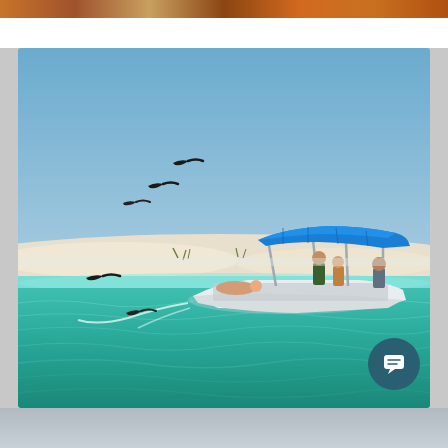[Figure (photo): A motorboat with a blue bimini top carrying several passengers cruises across turquoise ocean water near a white sandy beach. Several pelicans fly in the upper left portion of a clear blue sky. The background shows white sand dunes with sparse vegetation.]
[Figure (screenshot): Chat/comment icon button — white speech bubble icon on a dark teal circular background, positioned in the lower right corner of the image.]